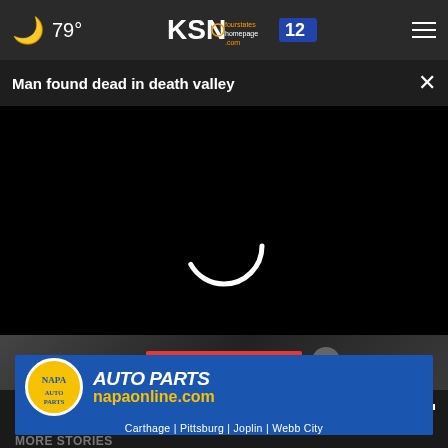🌙 79°  KSN fourstates homepage.com 12
Man found dead in death valley
[Figure (screenshot): Video player showing a loading spinner (buffering state) on a black background with playback controls at bottom showing 00:00 timestamp. A progress bar is at the bottom with a white circle handle at the start. Controls include play button, mute button, time display 00:00, and fullscreen button.]
[Figure (screenshot): SEE MORE FEEDBACK button in red, with a grey X close button to its right, overlaid on a partially visible image.]
[Figure (screenshot): NAPA AUTO PARTS advertisement banner with blue background, yellow NAPA logo circle, AUTO PARTS text in white italic bold, napaonline.com in yellow, and locations: Carthage | Pittsburg | Joplin | Webb City]
MORE STORIES